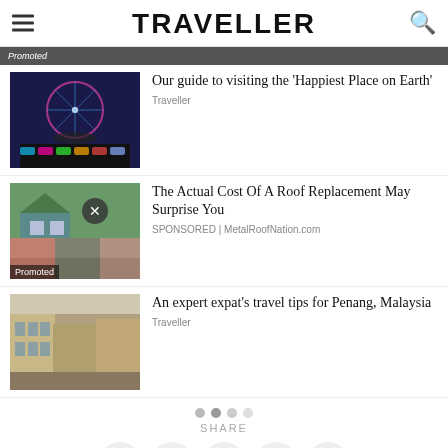TRAVELLER
[Figure (screenshot): Thumbnail of Disneyland with Ferris wheel lit up at night]
Our guide to visiting the 'Happiest Place on Earth'
Traveller
[Figure (photo): Thumbnail of roof replacement showing various roofing materials]
The Actual Cost Of A Roof Replacement May Surprise You
SPONSORED | MetalRoofNation.com
[Figure (photo): Thumbnail of Penang Malaysia street with colonial buildings]
An expert expat's travel tips for Penang, Malaysia
Traveller
SHARE